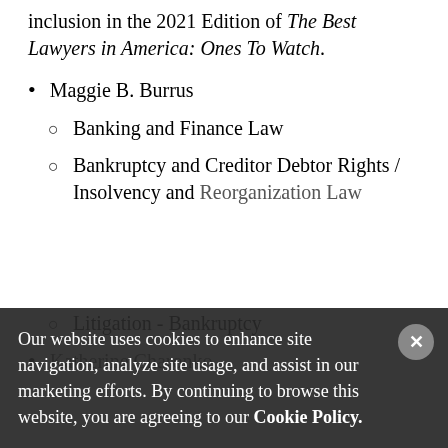inclusion in the 2021 Edition of The Best Lawyers in America: Ones To Watch.
Maggie B. Burrus
Banking and Finance Law
Bankruptcy and Creditor Debtor Rights / Insolvency and Reorganization Law
Litigation - Bankruptcy
Katherine Charonko
Our website uses cookies to enhance site navigation, analyze site usage, and assist in our marketing efforts. By continuing to browse this website, you are agreeing to our Cookie Policy.